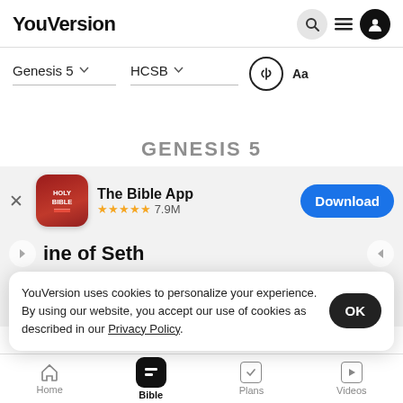YouVersion
Genesis 5 | HCSB
GENESIS 5
[Figure (screenshot): App store banner for The Bible App with Holy Bible icon, 5 star rating 7.9M reviews, and Download button]
line of Seth
1 The...
descendants of Adam: On the day that God
YouVersion uses cookies to personalize your experience. By using our website, you accept our use of cookies as described in our Privacy Policy.
Home | Bible | Plans | Videos